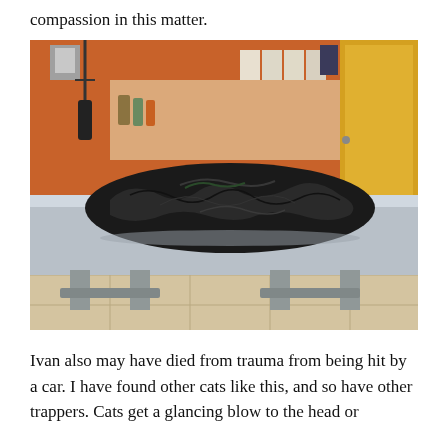compassion in this matter.
[Figure (photo): A veterinary examination room with orange walls and a yellow door. On a stainless steel examination table sits a large black plastic garbage bag containing what appears to be a wrapped animal.]
Ivan also may have died from trauma from being hit by a car. I have found other cats like this, and so have other trappers. Cats get a glancing blow to the head or